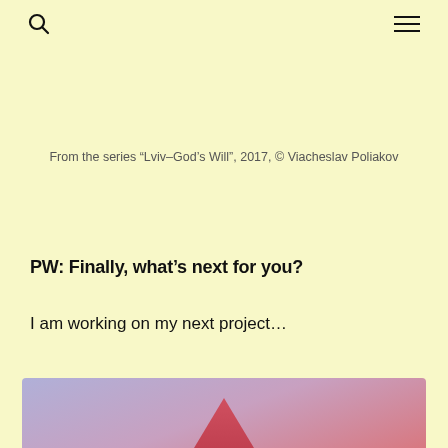Search icon and menu icon
From the series “Lviv–God’s Will”, 2017, © Viacheslav Poliakov
PW: Finally, what’s next for you?
I am working on my next project…
[Figure (photo): Partial view of a photograph from the series Lviv–God’s Will showing a figure in pink/red against a purple-blue sky background]